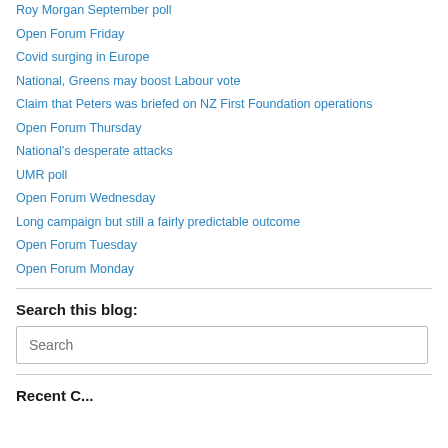Roy Morgan September poll
Open Forum Friday
Covid surging in Europe
National, Greens may boost Labour vote
Claim that Peters was briefed on NZ First Foundation operations
Open Forum Thursday
National's desperate attacks
UMR poll
Open Forum Wednesday
Long campaign but still a fairly predictable outcome
Open Forum Tuesday
Open Forum Monday
Search this blog:
Recent Comments